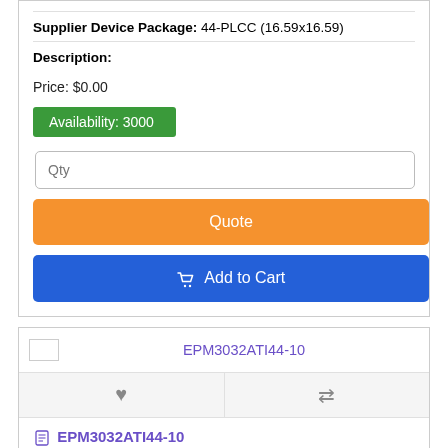Supplier Device Package: 44-PLCC (16.59x16.59)
Description:
Price: $0.00
Availability: 3000
EPM3032ATI44-10
EPM3032ATI44-10
History Price: $0.00
Category: Integrated Circuits (ICs)
Family: Embedded - CPLDs (Complex Programmable